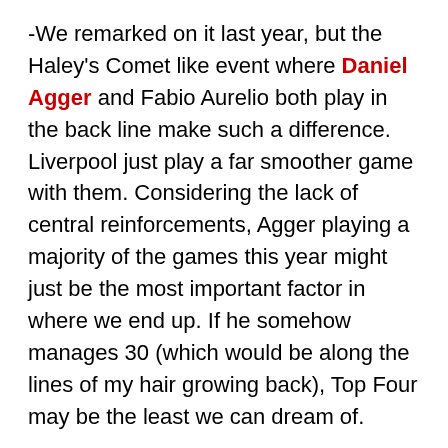-We remarked on it last year, but the Haley's Comet like event where Daniel Agger and Fabio Aurelio both play in the back line make such a difference. Liverpool just play a far smoother game with them. Considering the lack of central reinforcements, Agger playing a majority of the games this year might just be the most important factor in where we end up. If he somehow manages 30 (which would be along the lines of my hair growing back), Top Four may be the least we can dream of.
-Oh, and Lucas too. Charlie Adam was someone else I was lukewarm on, but just the half an hour he got with Lucas playing the encouraging dad behind him looked wonderful. With Spearing, neither he or Adam can figure out who's supposed to be deepest and who goes where. When those questions get answered with Lucas